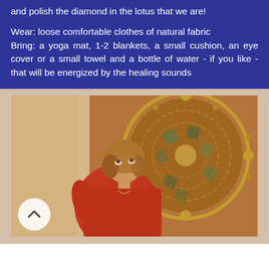and polish the diamond in the lotus that we are!

Wear: loose comfortable clothes of natural fabric
Bring: a yoga mat, 1-2 blankets, a small cushion, an eye cover or a small towel and a bottle of water - if you like - that will be energized by the healing sounds
[Figure (photo): A woman in a red top standing in front of a large circular gong, looking upward. The image has warm amber/orange tones. A circular scroll-up button overlay is visible in the lower left of the image.]